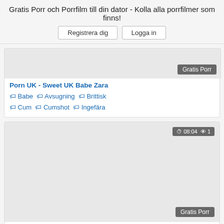Gratis Porr och Porrfilm till din dator - Kolla alla porrfilmer som finns!
Registrera dig   Logga in
[Figure (screenshot): Video thumbnail placeholder with Gratis Porr badge]
Porn UK - Sweet UK Babe Zara
Babe   Avsugning   Brittisk   Cum   Cumshot   Ingefära
[Figure (screenshot): Video thumbnail with 08:04 duration and 1 view, Gratis Porr badge]
Porn UK - Banging Cute Euro Teen
Babe   Avsugning   Brittisk   Cum   Cumshot   Söt
[Figure (screenshot): Video thumbnail with 27:13 duration and 1 view]